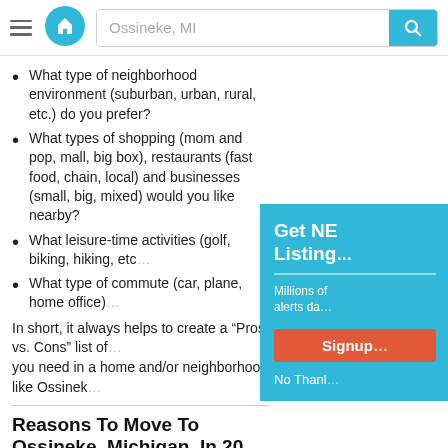Ossineke, MI — search bar header
What type of neighborhood environment (suburban, urban, rural, etc.) do you prefer?
What types of shopping (mom and pop, mall, big box), restaurants (fast food, chain, local) and businesses (small, big, mixed) would you like nearby?
What leisure-time activities (golf, biking, hiking, etc.) do you enjoy?
What type of commute (car, plane, home office) do you seek?
In short, it always helps to create a “Pros vs. Cons” list of what you need in a home and/or neighborhood like Ossineke…
Reasons To Move To Ossineke, Michigan, In 20…
Prospective homebuyers are clearly taking advantage of the low interest rates and numerous government assistance programs. These low interest rates mean homebuyers in Ossineke can now afford much more house for the same monthly payment (if…